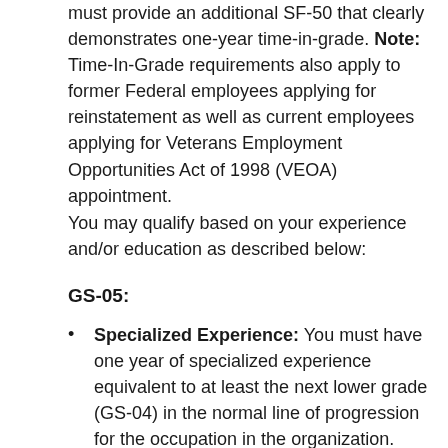must provide an additional SF-50 that clearly demonstrates one-year time-in-grade. Note: Time-In-Grade requirements also apply to former Federal employees applying for reinstatement as well as current employees applying for Veterans Employment Opportunities Act of 1998 (VEOA) appointment.
You may qualify based on your experience and/or education as described below:
GS-05:
Specialized Experience: You must have one year of specialized experience equivalent to at least the next lower grade (GS-04) in the normal line of progression for the occupation in the organization. Examples of specialized experience would typically include, but are not limited to: